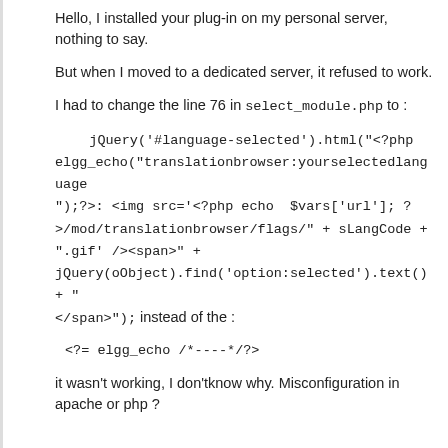Hello, I installed your plug-in on my personal server, nothing to say.
But when I moved to a dedicated server, it refused to work.
I had to change the line 76 in select_module.php to :
jQuery('#language-selected').html("<?php elgg_echo("translationbrowser:yourselectedlanguage");?>: <img src='<?php echo  $vars['url']; ?>/mod/translationbrowser/flags/" + sLangCode + ".gif' /><span>" +
jQuery(oObject).find('option:selected').text() + "</span>");
instead of the  :
<?= elgg_echo /*----*/?>
it wasn't working, I don'tknow why. Misconfiguration in apache or php ?